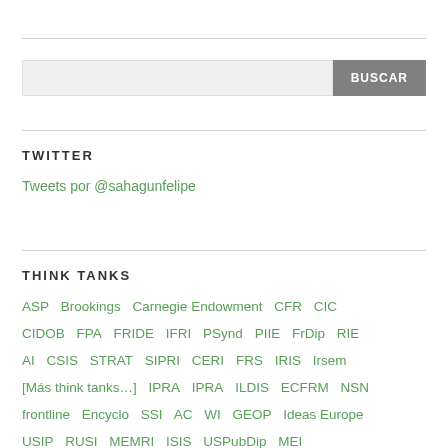BUSCAR (search bar)
TWITTER
Tweets por @sahagunfelipe
THINK TANKS
ASP
Brookings
Carnegie Endowment
CFR
CIC
CIDOB
FPA
FRIDE
IFRI
PSynd
PIIE
FrDip
RIE
AI
CSIS
STRAT
SIPRI
CERI
FRS
IRIS
Irsem
[Más think tanks…]
IPRA
IPRA
ILDIS
ECFRM
NSN
frontline
Encyclo
SSI
AC
WI
GEOP
Ideas Europe
USIP
RUSI
MEMRI
ISIS
USPubDip
MEI